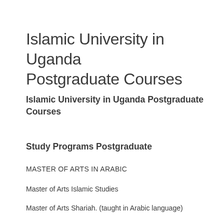Islamic University in Uganda Postgraduate Courses
Islamic University in Uganda Postgraduate Courses
Study Programs Postgraduate
MASTER OF ARTS IN ARABIC
Master of Arts Islamic Studies
Master of Arts Shariah. (taught in Arabic language)